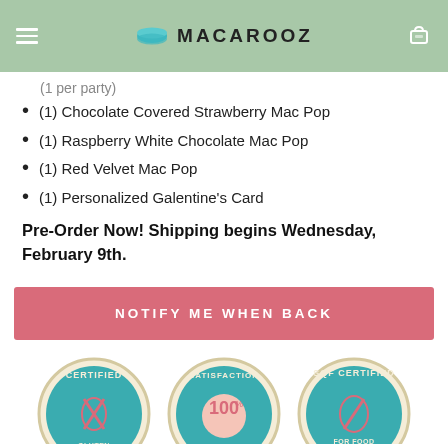MACAROOZ
(1) Chocolate Covered Strawberry Mac Pop
(1) Raspberry White Chocolate Mac Pop
(1) Red Velvet Mac Pop
(1) Personalized Galentine's Card
Pre-Order Now! Shipping begins Wednesday, February 9th.
NOTIFY ME WHEN BACK
[Figure (illustration): Three circular badge icons: Certified Gluten Free badge (teal/cream with wheat icon), Satisfaction 100% Guaranteed badge (teal/cream), SQF Certified For Food Safety badge (teal/cream with grain icon)]